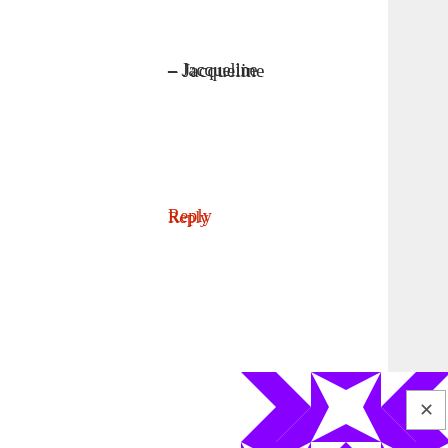– Jacqueline
Reply
[Figure (illustration): Purple and white geometric avatar/gravatar with diamond and star pattern in a square grid]
pamela says
OCTOBER 24, 2013 AT 12:23 AM
E-600 is a super, super strong glue. Just be sure you let it dry for 24 hours :) So when I do these I'll actually be doing them in a span of 1-2 days